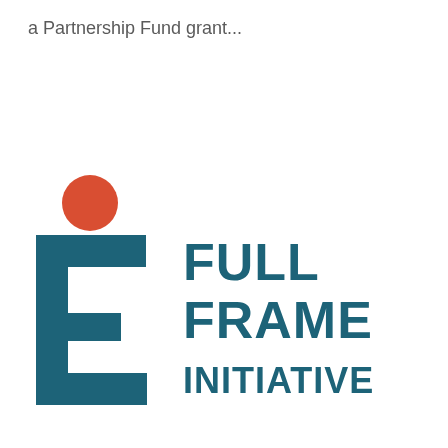a Partnership Fund grant...
[Figure (logo): Full Frame Initiative logo: red circle above a teal stylized F bracket icon, with the text FULL FRAME INITIATIVE in bold teal capital letters to the right]